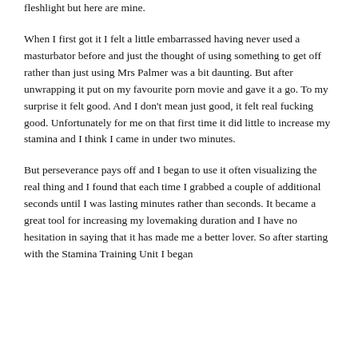fleshlight but here are mine.
When I first got it I felt a little embarrassed having never used a masturbator before and just the thought of using something to get off rather than just using Mrs Palmer was a bit daunting. But after unwrapping it put on my favourite porn movie and gave it a go. To my surprise it felt good. And I don't mean just good, it felt real fucking good. Unfortunately for me on that first time it did little to increase my stamina and I think I came in under two minutes.
But perseverance pays off and I began to use it often visualizing the real thing and I found that each time I grabbed a couple of additional seconds until I was lasting minutes rather than seconds. It became a great tool for increasing my lovemaking duration and I have no hesitation in saying that it has made me a better lover. So after starting with the Stamina Training Unit I began